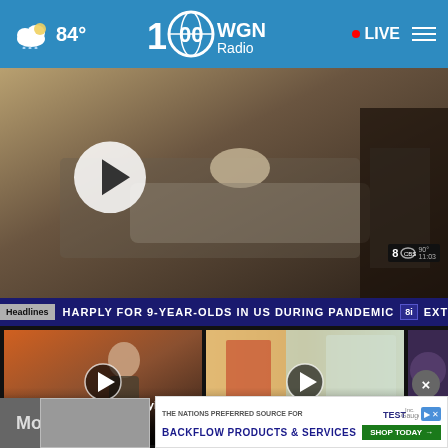[Figure (screenshot): WGN Radio website screenshot showing header with weather 84°, WGN Radio 100th anniversary logo, LIVE button, hamburger menu, hero video player with a man in hospital bed, news ticker, video cards, and advertisement overlay]
84°
• LIVE
[Figure (screenshot): Hero video thumbnail showing a young man reclining in a hospital bed]
Headlines  HARPLY FOR 9-YEAR-OLDS IN US DURING PANDEMIC  EXTREM
Only On 8: 'I remember trying to crawl away,'...
13 hours ago
Crypto ATMs are popping up througho...
13 hours ago
Beave office
Mor
THE NATIONS PREFERRED SOURCE FOR BACKFLOW PRODUCTS & SERVICES
SHOP TODAY →